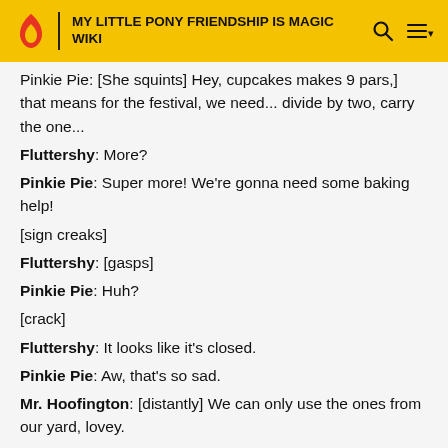MY LITTLE PONY FRIENDSHIP IS MAGIC WIKI
Pinkie Pie: [She squints] Hey, cupcakes makes 9 pars,] that means for the festival, we need... divide by two, carry the one...
Fluttershy: More?
Pinkie Pie: Super more! We're gonna need some baking help!
[sign creaks]
Fluttershy: [gasps]
Pinkie Pie: Huh?
[crack]
Fluttershy: It looks like it's closed.
Pinkie Pie: Aw, that's so sad.
Mr. Hoofington: [distantly] We can only use the ones from our yard, lovey.
Mrs. Hoofington: Oh, darling, stop it.